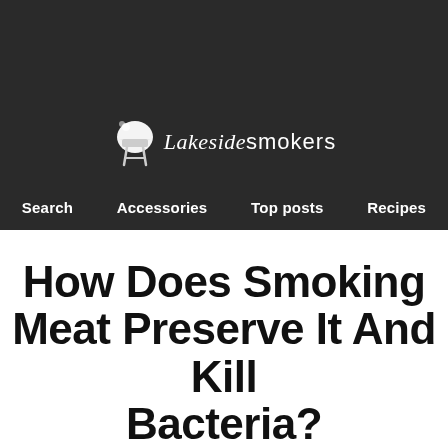[Figure (logo): Lakeside Smokers logo with BBQ grill icon and stylized text]
Search  Accessories  Top posts  Recipes
How Does Smoking Meat Preserve It And Kill Bacteria?